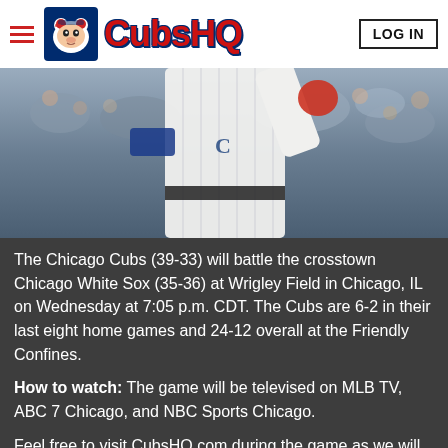CubsHQ | LOG IN
[Figure (photo): Chicago Cubs player in white pinstripe uniform celebrating at Wrigley Field, crowd visible in background]
The Chicago Cubs (39-33) will battle the crosstown Chicago White Sox (35-36) at Wrigley Field in Chicago, IL on Wednesday at 7:05 p.m. CDT. The Cubs are 6-2 in their last eight home games and 24-12 overall at the Friendly Confines.
How to watch: The game will be televised on MLB TV, ABC 7 Chicago, and NBC Sports Chicago.
Feel free to visit CubsHQ.com during the game as we will have a live game thread covering the ballgame with one of our writers. If you haven't joined our 100% free site, REGISTER HERE. It takes only 30 seconds to get a full membership.